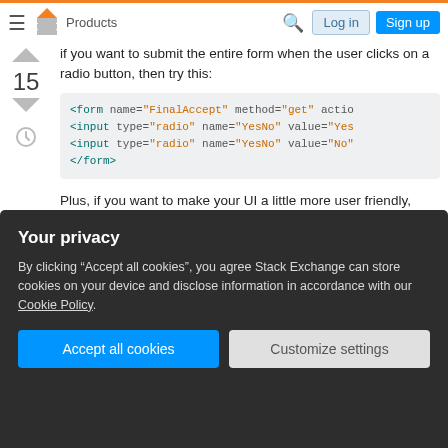≡ [Stack Overflow logo] Products 🔍 Log in Sign up
if you want to submit the entire form when the user clicks on a radio button, then try this:
[Figure (screenshot): Code block showing HTML form with radio inputs: <form name="FinalAccept" method="get" action..., <input type="radio" name="YesNo" value="Yes..., <input type="radio" name="YesNo" value="No..., </form>]
Plus, if you want to make your UI a little more user friendly, change it to this:
[Figure (screenshot): Partial code block showing: <form name="FinalAccept" method="get" actio...]
Your privacy
By clicking "Accept all cookies", you agree Stack Exchange can store cookies on your device and disclose information in accordance with our Cookie Policy.
Accept all cookies   Customize settings
This will make the text "Yes" and "No" as clickable labels for their radio buttons. The user can click the